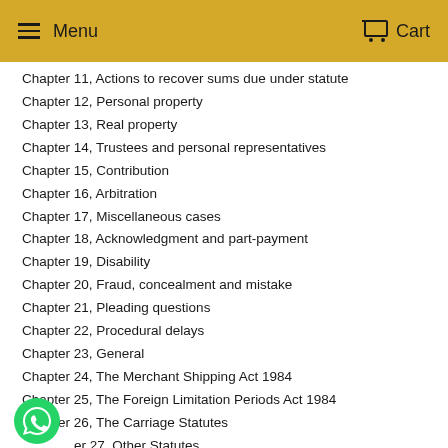Menu  Cart
Chapter 11, Actions to recover sums due under statute
Chapter 12, Personal property
Chapter 13, Real property
Chapter 14, Trustees and personal representatives
Chapter 15, Contribution
Chapter 16, Arbitration
Chapter 17, Miscellaneous cases
Chapter 18, Acknowledgment and part-payment
Chapter 19, Disability
Chapter 20, Fraud, concealment and mistake
Chapter 21, Pleading questions
Chapter 22, Procedural delays
Chapter 23, General
Chapter 24, The Merchant Shipping Act 1984
Chapter 25, The Foreign Limitation Periods Act 1984
Chapter 26, The Carriage Statutes
Chapter 27, Other Statutes
Chapter 28, European Law